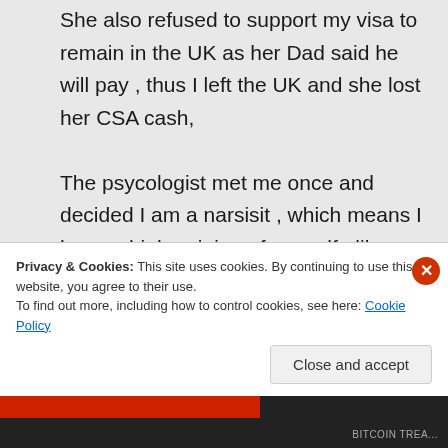She also refused to support my visa to remain in the UK as her Dad said he will pay , thus I left the UK and she lost her CSA cash,

The psycologist met me once and decided I am a narsisit , which means I have a high opinion of my self , like things in their right place and to control people , where in fact I was the one that was never allowed to own anything
Privacy & Cookies: This site uses cookies. By continuing to use this website, you agree to their use.
To find out more, including how to control cookies, see here: Cookie Policy